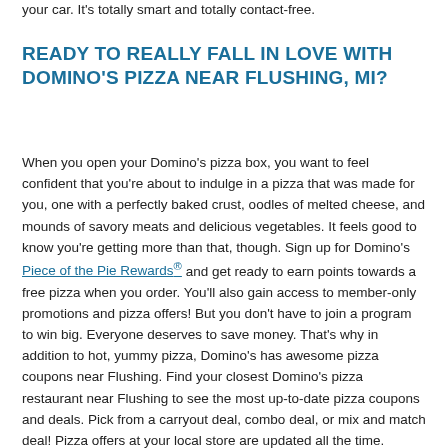your car. It's totally smart and totally contact-free.
READY TO REALLY FALL IN LOVE WITH DOMINO'S PIZZA NEAR FLUSHING, MI?
When you open your Domino's pizza box, you want to feel confident that you're about to indulge in a pizza that was made for you, one with a perfectly baked crust, oodles of melted cheese, and mounds of savory meats and delicious vegetables. It feels good to know you're getting more than that, though. Sign up for Domino's Piece of the Pie Rewards® and get ready to earn points towards a free pizza when you order. You'll also gain access to member-only promotions and pizza offers! But you don't have to join a program to win big. Everyone deserves to save money. That's why in addition to hot, yummy pizza, Domino's has awesome pizza coupons near Flushing. Find your closest Domino's pizza restaurant near Flushing to see the most up-to-date pizza coupons and deals. Pick from a carryout deal, combo deal, or mix and match deal! Pizza offers at your local store are updated all the time. Domino's is your pizza place near Flushing! Get the food you want, how and when you want it. So, what are